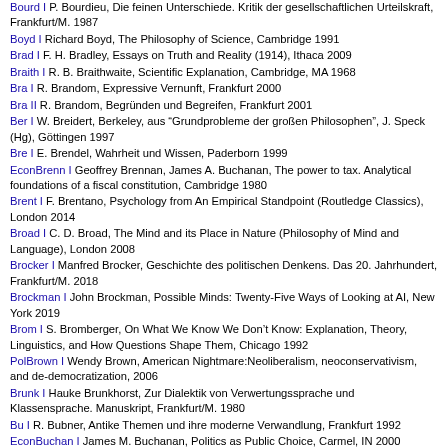Bourd I P. Bourdieu, Die feinen Unterschiede. Kritik der gesellschaftlichen Urteilskraft, Frankfurt/M. 1987
Boyd I Richard Boyd, The Philosophy of Science, Cambridge 1991
Brad I F. H. Bradley, Essays on Truth and Reality (1914), Ithaca 2009
Braith I R. B. Braithwaite, Scientific Explanation, Cambridge, MA 1968
Bra I R. Brandom, Expressive Vernunft, Frankfurt 2000
Bra II R. Brandom, Begründen und Begreifen, Frankfurt 2001
Ber I W. Breidert, Berkeley, aus "Grundprobleme der großen Philosophen", J. Speck (Hg), Göttingen 1997
Bre I E. Brendel, Wahrheit und Wissen, Paderborn 1999
EconBrenn I Geoffrey Brennan, James A. Buchanan, The power to tax. Analytical foundations of a fiscal constitution, Cambridge 1980
Brent I F. Brentano, Psychology from An Empirical Standpoint (Routledge Classics), London 2014
Broad I C. D. Broad, The Mind and its Place in Nature (Philosophy of Mind and Language), London 2008
Brocker I Manfred Brocker, Geschichte des politischen Denkens. Das 20. Jahrhundert, Frankfurt/M. 2018
Brockman I John Brockman, Possible Minds: Twenty-Five Ways of Looking at AI, New York 2019
Brom I S. Bromberger, On What We Know We Don't Know: Explanation, Theory, Linguistics, and How Questions Shape Them, Chicago 1992
PolBrown I Wendy Brown, American Nightmare:Neoliberalism, neoconservativism, and de-democratization, 2006
Brunk I Hauke Brunkhorst, Zur Dialektik von Verwertungssprache und Klassensprache. Manuskript, Frankfurt/M. 1980
Bu I R. Bubner, Antike Themen und ihre moderne Verwandlung, Frankfurt 1992
EconBuchan I James M. Buchanan, Politics as Public Choice, Carmel, IN 2000
Bung I M. Bunge, Causality and Modern Science: Third Revised Edition, New York 1979
Burge I T. Burge, Origins of Objectivity, Oxford 2010